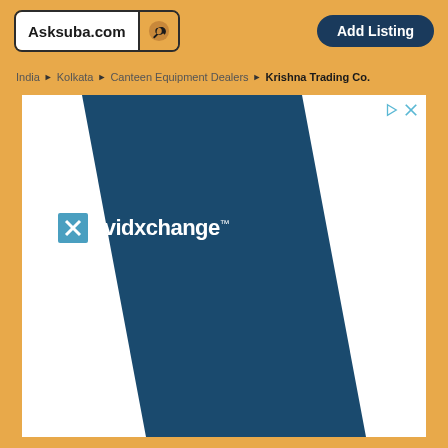Asksuba.com | Add Listing
India ▶ Kolkata ▶ Canteen Equipment Dealers ▶ Krishna Trading Co.
[Figure (screenshot): AvidXchange advertisement banner with diagonal dark blue stripe on white background, showing the AvidXchange logo in white text with a blue X icon on the left side]